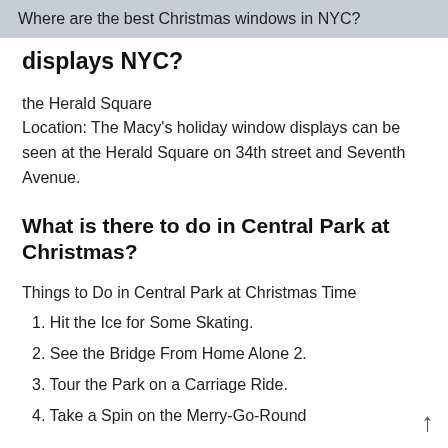Where are the best Christmas windows in NYC?
displays NYC?
the Herald Square
Location: The Macy's holiday window displays can be seen at the Herald Square on 34th street and Seventh Avenue.
What is there to do in Central Park at Christmas?
Things to Do in Central Park at Christmas Time
1. Hit the Ice for Some Skating.
2. See the Bridge From Home Alone 2.
3. Tour the Park on a Carriage Ride.
4. Take a Spin on the Merry-Go-Round